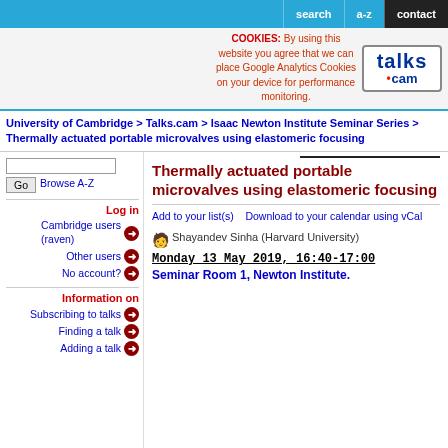search | a-z | contact
COOKIES: By using this website you agree that we can place Google Analytics Cookies on your device for performance monitoring.
University of Cambridge > Talks.cam > Isaac Newton Institute Seminar Series > Thermally actuated portable microvalves using elastomeric focusing
Thermally actuated portable microvalves using elastomeric focusing
Add to your list(s)   Download to your calendar using vCal
Shayandev Sinha (Harvard University)
Monday 13 May 2019, 16:40-17:00
Seminar Room 1, Newton Institute.
Log in
Cambridge users (raven)
Other users
No account?
Information on
Subscribing to talks
Finding a talk
Adding a talk